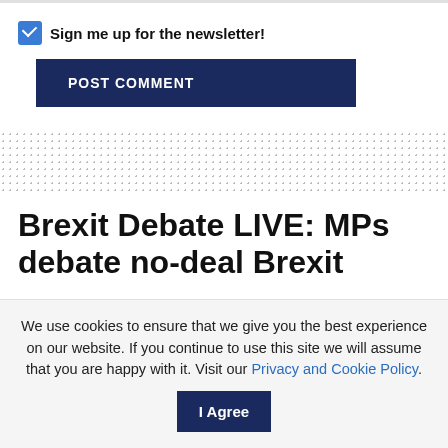Sign me up for the newsletter!
POST COMMENT
Brexit Debate LIVE: MPs debate no-deal Brexit
by EUdebates Team — 04/09/2019
We use cookies to ensure that we give you the best experience on our website. If you continue to use this site we will assume that you are happy with it. Visit our Privacy and Cookie Policy.  I Agree